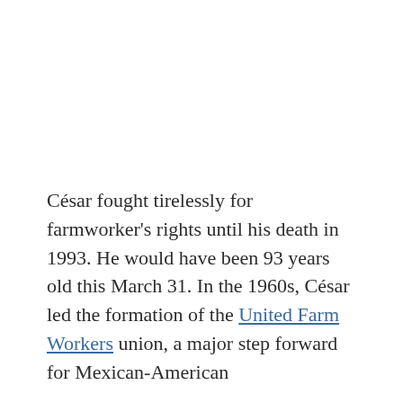César fought tirelessly for farmworker's rights until his death in 1993. He would have been 93 years old this March 31. In the 1960s, César led the formation of the United Farm Workers union, a major step forward for Mexican-American